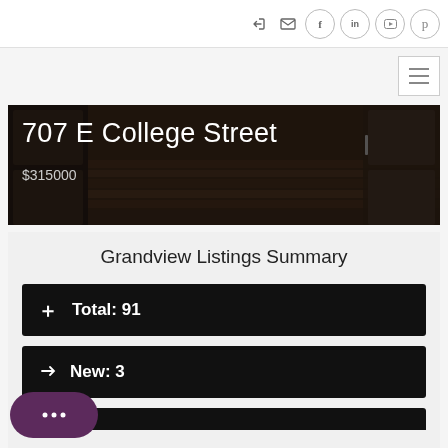Social and navigation icons header
[Figure (screenshot): Hero image of a kitchen/hallway interior with wood floors and cabinetry, dark overlay]
707 E College Street
$315000
Grandview Listings Summary
Total: 91
New: 3